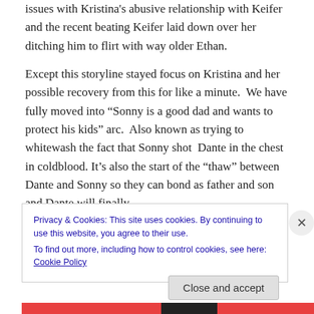issues with Kristina's abusive relationship with Keifer and the recent beating Keifer laid down over her ditching him to flirt with way older Ethan.
Except this storyline stayed focus on Kristina and her possible recovery from this for like a minute.  We have fully moved into "Sonny is a good dad and wants to protect his kids" arc.  Also known as trying to whitewash the fact that Sonny shot  Dante in the chest in coldblood. It's also the start of the "thaw" between Dante and Sonny so they can bond as father and son and Dante will finally
Privacy & Cookies: This site uses cookies. By continuing to use this website, you agree to their use.
To find out more, including how to control cookies, see here: Cookie Policy